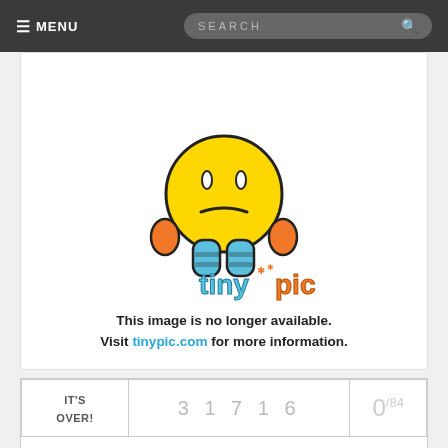≡ MENU | SEARCH
[Figure (illustration): Tinypic mascot - a sad yellow smiley face character with orange arms and blue shoes, with the tinypic logo below. Text: 'This image is no longer available. Visit tinypic.com for more information.']
| IT'S OVER! | 3 1 7 1 6 | 0/84 |
| $1,000 Target Gift |  |  |
$1,000 Target Gift